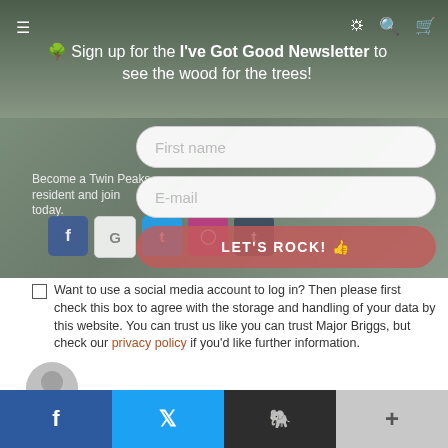🌲 Sign up for the I've Got Good Newsletter to see the wood for the trees!
Become a Twin Peaks resident and join today.
[Figure (screenshot): Newsletter signup form with First name and E-mail input fields and a LET'S ROCK! 👍 submit button]
[Figure (infographic): Social media login icons: Facebook, Google, Twitter, Instagram, Tumblr]
Want to use a social media account to log in? Then please first check this box to agree with the storage and handling of your data by this website. You can trust us like you can trust Major Briggs, but check our privacy policy if you'd like further information.
[Figure (illustration): Default user avatar (grey circle with person silhouette)]
Your email address will not be published. Required fields are marked *
Comment*
Facebook | Twitter | Reddit | +